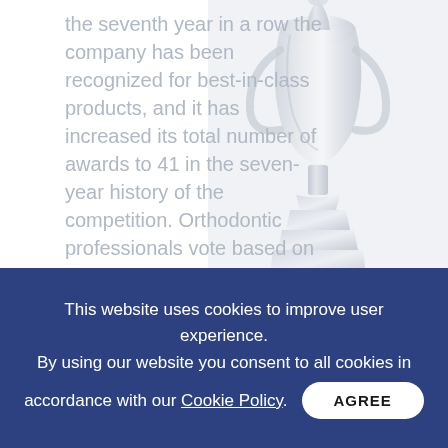the seventh year in a row the company has been recognized for best-in-class products, and it has increased its total number of awards to 41 in the seven-year history of the competition. Orthodontic professionals vote based on their experiences with products and services
[Figure (photo): A silver/chrome award trophy on a white to light gray background, positioned on the right side of the image]
This website uses cookies to improve user experience. By using our website you consent to all cookies in accordance with our Cookie Policy. AGREE